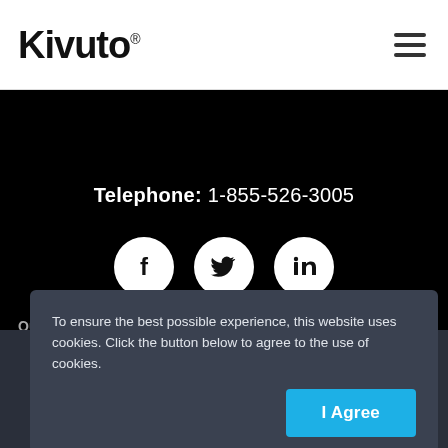Kivuto®
Telephone: 1-855-526-3005
[Figure (other): Three social media icon buttons in white circles on black background: Facebook (f), Twitter (bird), LinkedIn (in)]
To ensure the best possible experience, this website uses cookies. Click the button below to agree to the use of cookies.
I Agree
support or Texidium for eText support.